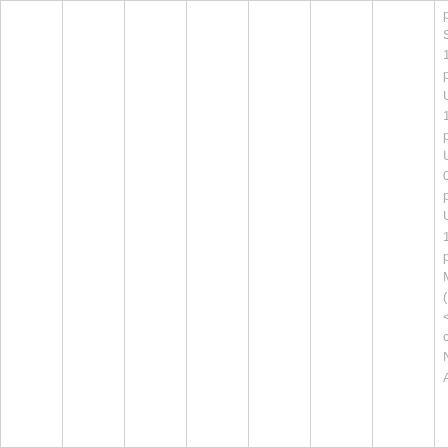|  |  |  |  |  |  |  | pCi/L, Sr90 1.27 pCi/L, U234 1.77 pCi/L, U235/U238 0.0997 pCi/L, U238 1.45 pCi/L Metals (unfiltered): <font class=font: ND, Al |